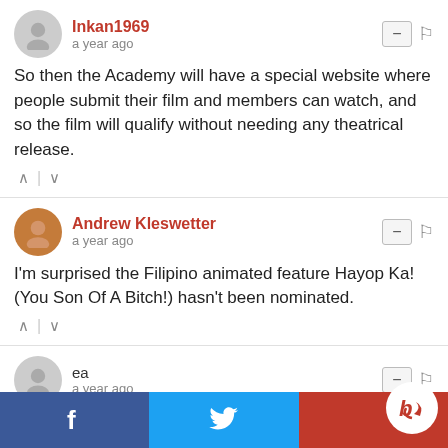Inkan1969 — a year ago
So then the Academy will have a special website where people submit their film and members can watch, and so the film will qualify without needing any theatrical release.
Andrew Kleswetter — a year ago
I'm surprised the Filipino animated feature Hayop Ka! (You Son Of A Bitch!) hasn't been nominated.
ea — a year ago
"Belle" and "Where is Anne Frank" may have a chance at getting nominated. The others are going to be ignored in favor of the usual Disney/DreamWorks/Sony stuff.